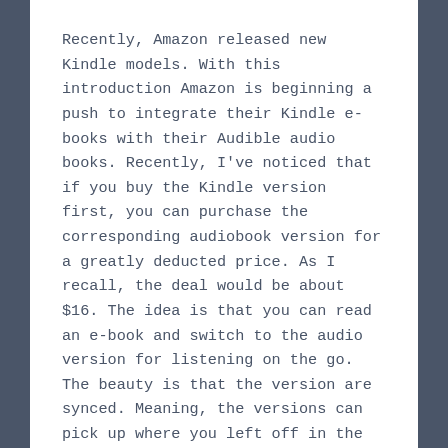Recently, Amazon released new Kindle models. With this introduction Amazon is beginning a push to integrate their Kindle e-books with their Audible audio books. Recently, I've noticed that if you buy the Kindle version first, you can purchase the corresponding audiobook version for a greatly deducted price. As I recall, the deal would be about $16. The idea is that you can read an e-book and switch to the audio version for listening on the go. The beauty is that the version are synced. Meaning, the versions can pick up where you left off in the other format.
How will combination ebooks and audio books